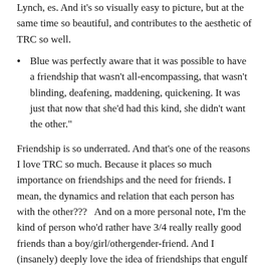Lynch, es. And it's so visually easy to picture, but at the same time so beautiful, and contributes to the aesthetic of TRC so well.
Blue was perfectly aware that it was possible to have a friendship that wasn't all-encompassing, that wasn't blinding, deafening, maddening, quickening. It was just that now that she'd had this kind, she didn't want the other."
Friendship is so underrated. And that's one of the reasons I love TRC so much. Because it places so much importance on friendships and the need for friends. I mean, the dynamics and relation that each person has with the other???   And on a more personal note, I'm the kind of person who'd rather have 3/4 really really good friends than a boy/girl/othergender-friend. And I (insanely) deeply love the idea of friendships that engulf and take over your life, and the relationships that you have with these people. Which is something TRC explores so beautifully. ❤